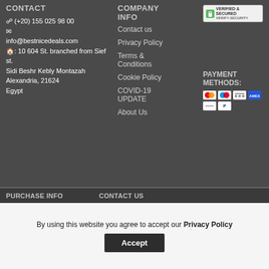CONTACT
(+20) 155 025 98 00
info@bestnicedeals.com
: 10 604 St. branched from Sief st.
Sidi Beshr Kebly Montazah
Alexandria, 21624
Egypt
COMPANY INFO
Contact us
Privacy Policy
Terms & Conditions
Cookie Policy
COVID-19 UPDATE
About Us
[Figure (other): Verified & Secured badge with green lock icon]
PAYMENT METHODS:
[Figure (other): Payment method icons: Mastercard, Maestro, bank transfer, American Express, and PayPal]
PURCHASE INFO
CONTACT US
By using this website you agree to accept our Privacy Policy
Accept